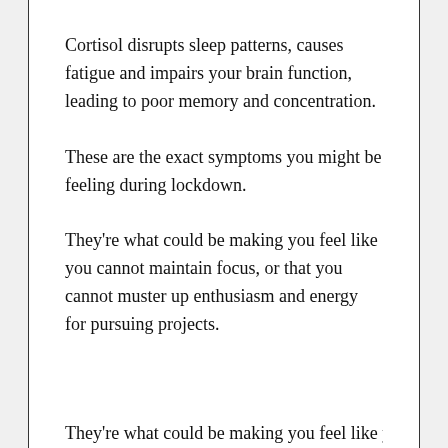Cortisol disrupts sleep patterns, causes fatigue and impairs your brain function, leading to poor memory and concentration.
These are the exact symptoms you might be feeling during lockdown.
They're what could be making you feel like you cannot maintain focus, or that you cannot muster up enthusiasm and energy for pursuing projects.
They're what could be making you feel like you cannot maintain focus, or that you cannot muster up enthusiasm and energy for pursuing projects.